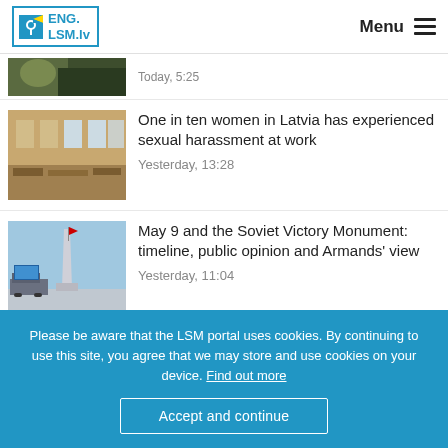ENG.LSM.lv — Menu
Today, 5:25
One in ten women in Latvia has experienced sexual harassment at work
Yesterday, 13:28
May 9 and the Soviet Victory Monument: timeline, public opinion and Armands' view
Yesterday, 11:04
Please be aware that the LSM portal uses cookies. By continuing to use this site, you agree that we may store and use cookies on your device. Find out more
Accept and continue